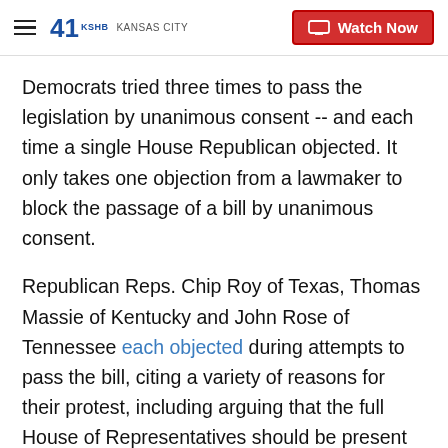41 KSHB KANSAS CITY | Watch Now
Democrats tried three times to pass the legislation by unanimous consent -- and each time a single House Republican objected. It only takes one objection from a lawmaker to block the passage of a bill by unanimous consent.
Republican Reps. Chip Roy of Texas, Thomas Massie of Kentucky and John Rose of Tennessee each objected during attempts to pass the bill, citing a variety of reasons for their protest, including arguing that the full House of Representatives should be present to take a roll call vote, rather than attempting to move the bill while lawmakers were not in Washington.